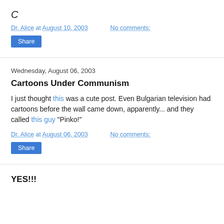C
Dr. Alice at August 10, 2003    No comments:
Share
Wednesday, August 06, 2003
Cartoons Under Communism
I just thought this was a cute post. Even Bulgarian television had cartoons before the wall came down, apparently... and they called this guy "Pinko!"
Dr. Alice at August 06, 2003    No comments:
Share
YES!!!